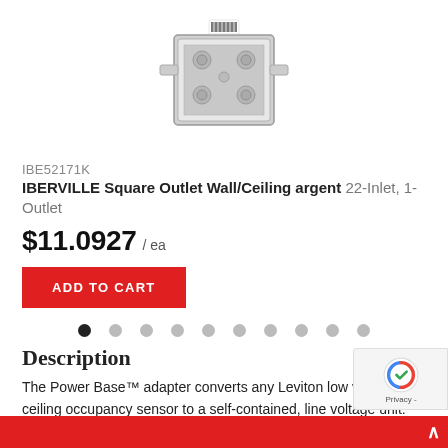[Figure (photo): Product photo of IBERVILLE Square Outlet Wall/Ceiling metal electrical box, silver/steel color, viewed from above at an angle]
IBE52171K
IBERVILLE Square Outlet Wall/Ceiling argent 22-Inlet, 1-Outlet
$11.0927 / ea
ADD TO CART
Description
The Power Base™ adapter converts any Leviton low voltage ceiling occupancy sensor to a self-contained, line voltage unit. Ability to convert Leviton low-voltage ceiling sensors to line voltage offers greater versatility in any application. Two-pole terminal block provides fast, easy low-voltage connection to sensor. Zero-crossing circuitry for enhanced reliability and long-